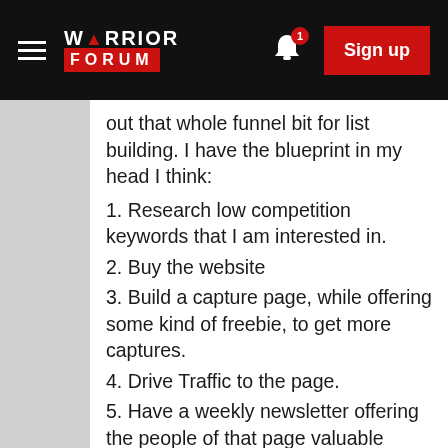Warrior Forum — Sign up
out that whole funnel bit for list building. I have the blueprint in my head I think:
1. Research low competition keywords that I am interested in.
2. Buy the website
3. Build a capture page, while offering some kind of freebie, to get more captures.
4. Drive Traffic to the page.
5. Have a weekly newsletter offering the people of that page valuable information.
6. Incorporate CPA into that